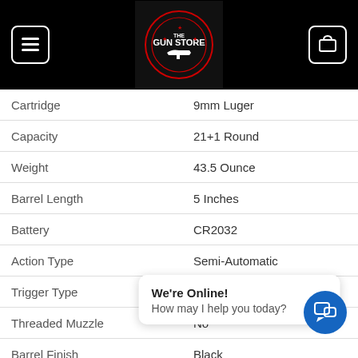[Figure (logo): The Gun Store logo centered in black header bar with menu and cart icons]
| Attribute | Value |
| --- | --- |
| Cartridge | 9mm Luger |
| Capacity | 21+1 Round |
| Weight | 43.5 Ounce |
| Barrel Length | 5 Inches |
| Battery | CR2032 |
| Action Type | Semi-Automatic |
| Trigger Type | Striker |
| Threaded Muzzle | No |
| Barrel Finish | Black |
| Frame Material | Stainless Steel |
| Grip Material |  |
| Frame Finish | Stainless |
We're Online! How may I help you today?